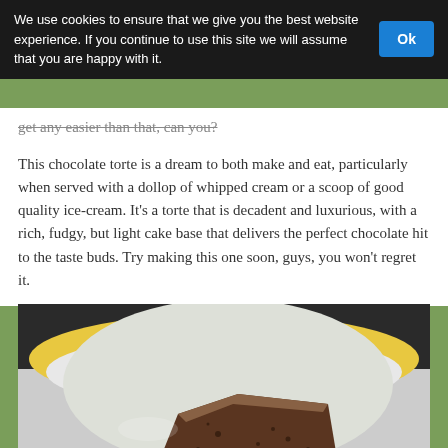We use cookies to ensure that we give you the best website experience. If you continue to use this site we will assume that you are happy with it.
get any easier than that, can you?
This chocolate torte is a dream to both make and eat, particularly when served with a dollop of whipped cream or a scoop of good quality ice-cream. It's a torte that is decadent and luxurious, with a rich, fudgy, but light cake base that delivers the perfect chocolate hit to the taste buds. Try making this one soon, guys, you won't regret it.
[Figure (photo): A slice of chocolate torte on a white plate with yellow rim, viewed from above on a dark background]